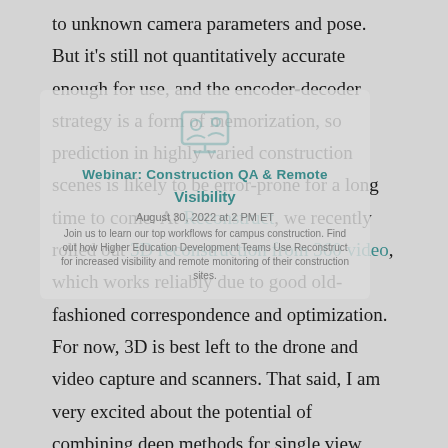to unknown camera parameters and pose. But it's still not quantitatively accurate enough for use, and the encoder-decoder strategy is a form of memorization, so prediction in highly varied construction scenes is likely to be error-prone for a long time to come. At Reconstruct, we recently rolled out 3D reconstruction from 360 video, which works reliably due to good old-fashioned correspondence and optimization. For now, 3D is best left to the drone and video capture and scanners. That said, I am very excited about the potential of combining deep methods for single view recognition and segmentation with multiview methods of producing precise
[Figure (other): Semi-transparent overlay card showing a webinar advertisement with icon, title 'Webinar: Construction QA & Remote Visibility', date 'August 30, 2022 at 2 PM ET', and description text about joining to learn workflows for campus construction and Higher Education Development Teams using Reconstruct.]